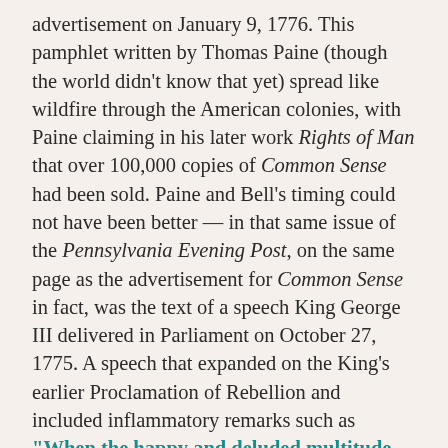advertisement on January 9, 1776. This pamphlet written by Thomas Paine (though the world didn't know that yet) spread like wildfire through the American colonies, with Paine claiming in his later work Rights of Man that over 100,000 copies of Common Sense had been sold. Paine and Bell's timing could not have been better — in that same issue of the Pennsylvania Evening Post, on the same page as the advertisement for Common Sense in fact, was the text of a speech King George III delivered in Parliament on October 27, 1775. A speech that expanded on the King's earlier Proclamation of Rebellion and included inflammatory remarks such as "When the happy and deluded multitude... shall become sensible of their error, I shall be ready to receive the misled with tenderness and mercy!" Enter Paine's pamphlet, which argued that "the sun never shined on a cause of greater worth" and "the last cord is now broken"